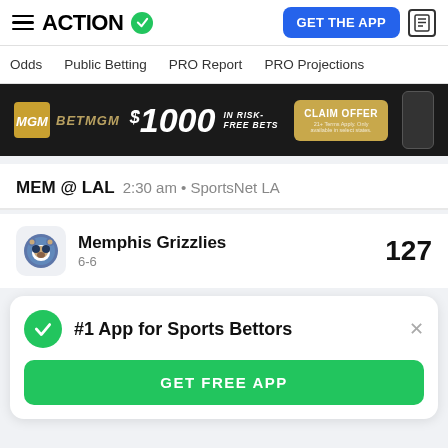ACTION — GET THE APP
Odds  Public Betting  PRO Report  PRO Projections
[Figure (photo): BetMGM advertisement banner: $1000 in risk-free bets, CLAIM OFFER button]
MEM @ LAL  2:30 am • SportsNet LA
[Figure (logo): Memphis Grizzlies team logo]
Memphis Grizzlies
6-6
127
#1 App for Sports Bettors
GET FREE APP